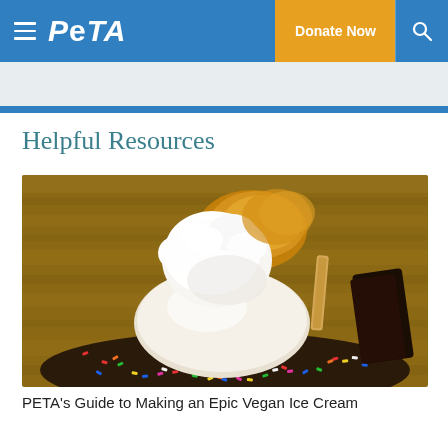PETA — Donate Now
Helpful Resources
[Figure (photo): Close-up photo of a vegan ice cream sundae with colorful sprinkles around the rim, white whipped cream, caramel drizzle, and chocolate pieces on a wooden table surface]
PETA's Guide to Making an Epic Vegan Ice Cream